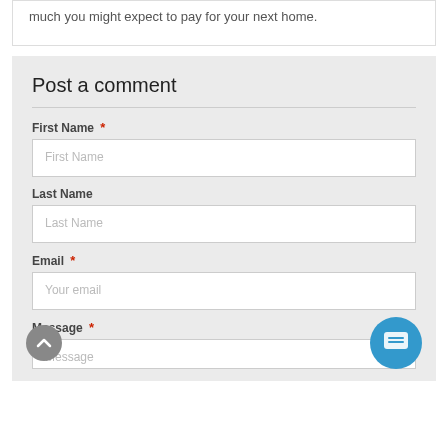much you might expect to pay for your next home.
Post a comment
First Name *
First Name
Last Name
Last Name
Email *
Your email
Message *
Message